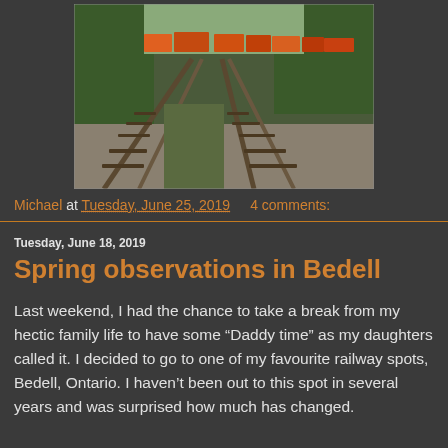[Figure (photo): A railway track perspective shot showing two sets of tracks converging toward the horizon, lined with green trees. Freight train cars (orange and red) visible in the background.]
Michael at Tuesday, June 25, 2019    4 comments:
Tuesday, June 18, 2019
Spring observations in Bedell
Last weekend, I had the chance to take a break from my hectic family life to have some “Daddy time” as my daughters called it. I decided to go to one of my favourite railway spots, Bedell, Ontario. I haven’t been out to this spot in several years and was surprised how much has changed.